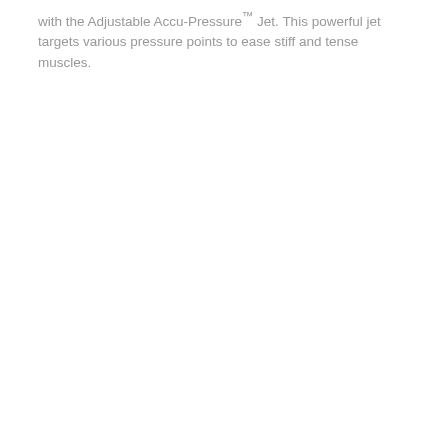with the Adjustable Accu-Pressure™ Jet. This powerful jet targets various pressure points to ease stiff and tense muscles.